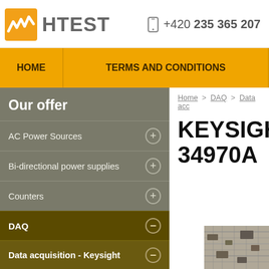[Figure (logo): HTEST company logo with orange/grey waveform icon and grey HTEST text]
+420 235 365 207
HOME
TERMS AND CONDITIONS
Our offer
AC Power Sources
Bi-directional power supplies
Counters
DAQ
Data acquisition - Keysight
Home > DAQ > Data acc
KEYSIGHT 34970A
[Figure (photo): Partial view of electronic circuit board / data acquisition module]